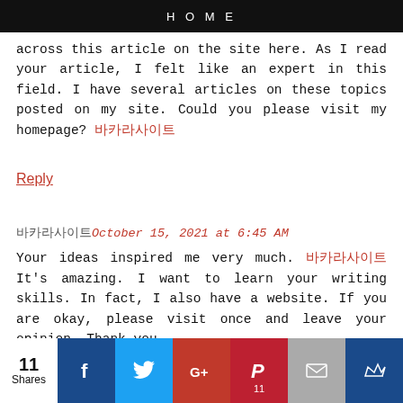HOME
across this article on the site here. As I read your article, I felt like an expert in this field. I have several articles on these topics posted on my site. Could you please visit my homepage? 바카라사이트
Reply
바카라사이트October 15, 2021 at 6:45 AM
Your ideas inspired me very much. 바카라사이트 It's amazing. I want to learn your writing skills. In fact, I also have a website. If you are okay, please visit once and leave your opinion. Thank you.
Reply
11 Shares